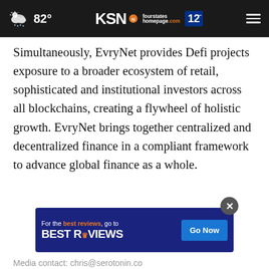82° | KSN fourstates homepage.com 12
Simultaneously, EvryNet provides Defi projects exposure to a broader ecosystem of retail, sophisticated and institutional investors across all blockchains, creating a flywheel of holistic growth. EvryNet brings together centralized and decentralized finance in a compliant framework to advance global finance as a whole.
[Figure (screenshot): BestReviews advertisement banner: 'For the best reviews, go to BESTREVIEWS' with a 'Go Now' button on dark blue background]
Media contact: chris@serotonin.co